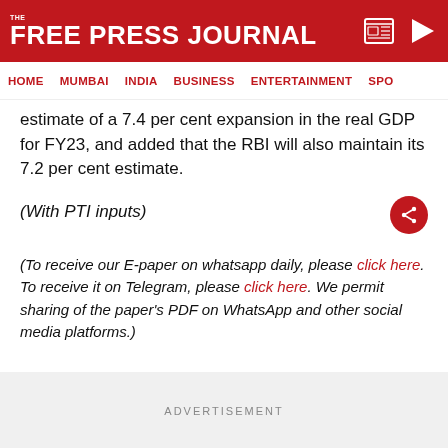THE FREE PRESS JOURNAL | HOME | MUMBAI | INDIA | BUSINESS | ENTERTAINMENT | SPO...
estimate of a 7.4 per cent expansion in the real GDP for FY23, and added that the RBI will also maintain its 7.2 per cent estimate.
(With PTI inputs)
(To receive our E-paper on whatsapp daily, please click here. To receive it on Telegram, please click here. We permit sharing of the paper's PDF on WhatsApp and other social media platforms.)
ADVERTISEMENT